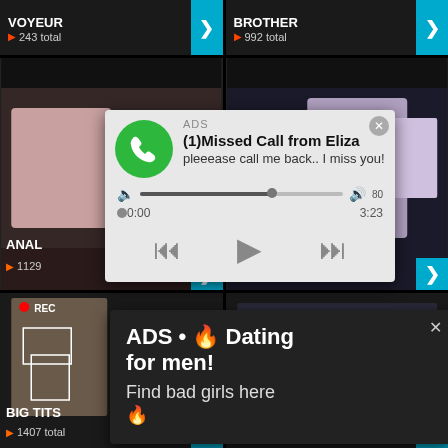243 total
992 total
ANAL
1129
[Figure (screenshot): Ad popup: missed call notification from Eliza with audio player controls showing 0:00 / 3:23]
(1)Missed Call from Eliza
pleeease call me back.. I miss you!
0:00  3:23
[Figure (screenshot): Dating ad popup on dark background with REC thumbnail image]
ADS • 🔥 Dating for men!
Find bad girls here 🔥
BIG T...
1407 total
TEEN AMATEUR
1074 total